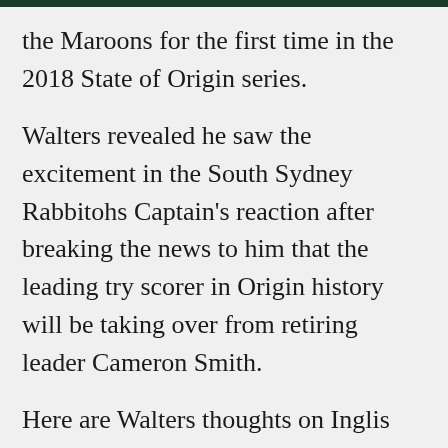the Maroons for the first time in the 2018 State of Origin series.
Walters revealed he saw the excitement in the South Sydney Rabbitohs Captain's reaction after breaking the news to him that the leading try scorer in Origin history will be taking over from retiring leader Cameron Smith.
Here are Walters thoughts on Inglis from his squad announcement press conference:
Inglis is ready